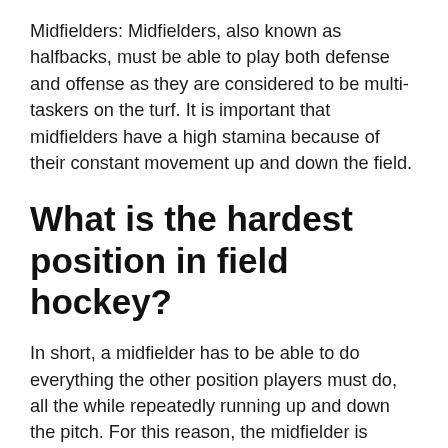Midfielders: Midfielders, also known as halfbacks, must be able to play both defense and offense as they are considered to be multi-taskers on the turf. It is important that midfielders have a high stamina because of their constant movement up and down the field.
What is the hardest position in field hockey?
In short, a midfielder has to be able to do everything the other position players must do, all the while repeatedly running up and down the pitch. For this reason, the midfielder is considered the most